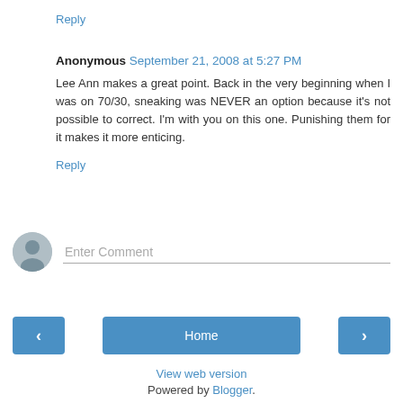Reply
Anonymous  September 21, 2008 at 5:27 PM
Lee Ann makes a great point. Back in the very beginning when I was on 70/30, sneaking was NEVER an option because it's not possible to correct. I'm with you on this one. Punishing them for it makes it more enticing.
Reply
Enter Comment
[Figure (infographic): Navigation bar with left arrow button, Home button, and right arrow button]
View web version
Powered by Blogger.